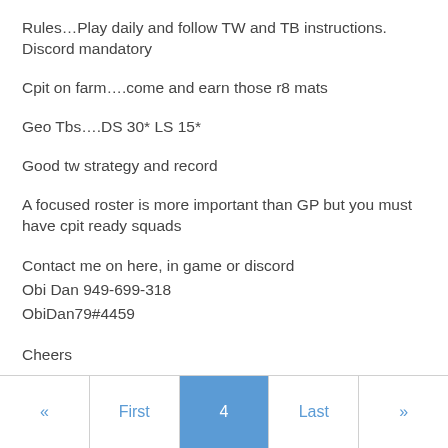Rules…Play daily and follow TW and TB instructions. Discord mandatory
Cpit on farm….come and earn those r8 mats
Geo Tbs….DS 30* LS 15*
Good tw strategy and record
A focused roster is more important than GP but you must have cpit ready squads
Contact me on here, in game or discord
Obi Dan 949-699-318
ObiDan79#4459
Cheers
« | First | 4 | Last | »